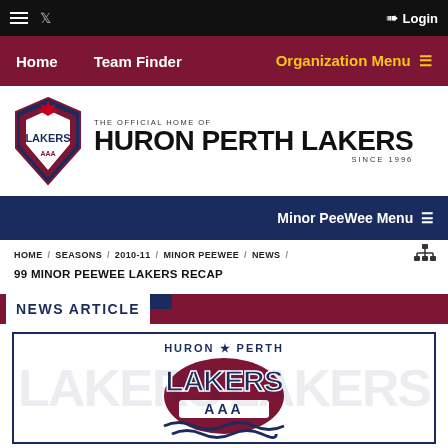☰ 🐦 Login
Home   Team Finder   Organization Menu ≡
[Figure (logo): Huron Perth Lakers AAA shield logo with maple leaf on top]
THE OFFICIAL HOME OF HURON PERTH LAKERS SINCE 1996
Minor PeeWee Menu ≡
HOME / SEASONS / 2010-11 / MINOR PEEWEE / NEWS /
99 MINOR PEEWEE LAKERS RECAP
NEWS ARTICLE
[Figure (logo): Huron Perth Lakers AAA logo with blue wave lines below the shield, on a white background with faded LAKERS watermark text]